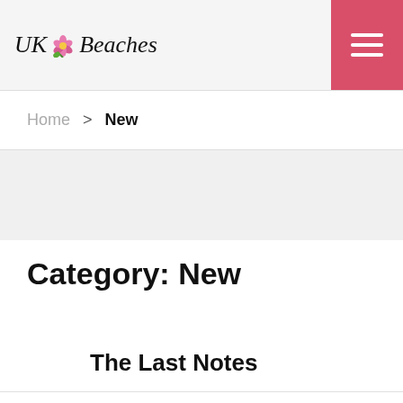UK Beaches
Home > New
Category: New
The Last Notes